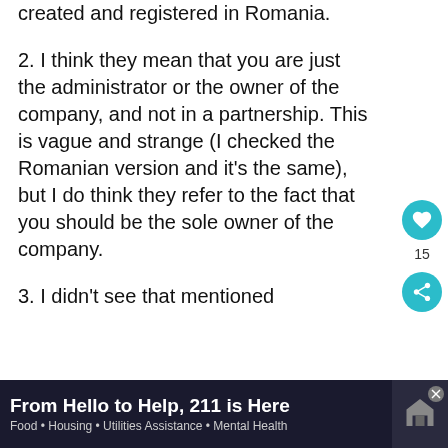1. No, it has to be a company created and registered in Romania.
2. I think they mean that you are just the administrator or the owner of the company, and not in a partnership. This is vague and strange (I checked the Romanian version and it’s the same), but I do think they refer to the fact that you should be the sole owner of the company.
3. I didn’t see that mentioned
[Figure (other): Like button (heart icon) with count 15 and share button, teal circular icons on right sidebar]
From Hello to Help, 211 is Here • Food • Housing • Utilities Assistance • Mental Health